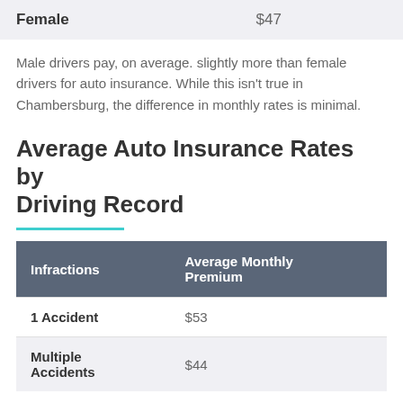|  |  |
| --- | --- |
| Female | $47 |
Male drivers pay, on average. slightly more than female drivers for auto insurance. While this isn't true in Chambersburg, the difference in monthly rates is minimal.
Average Auto Insurance Rates by Driving Record
| Infractions | Average Monthly Premium |
| --- | --- |
| 1 Accident | $53 |
| Multiple Accidents | $44 |